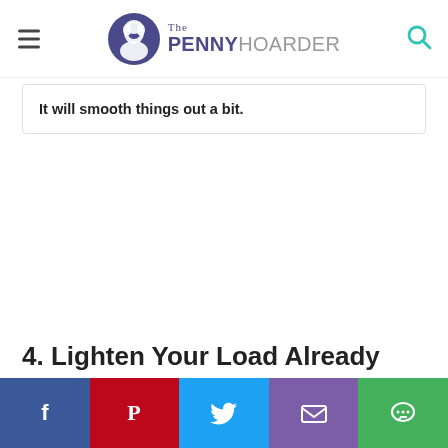The Penny Hoarder
It will smooth things out a bit.
4. Lighten Your Load Already
[Figure (infographic): Social share bar with Facebook, Pinterest, Twitter, Email, and Chat buttons]